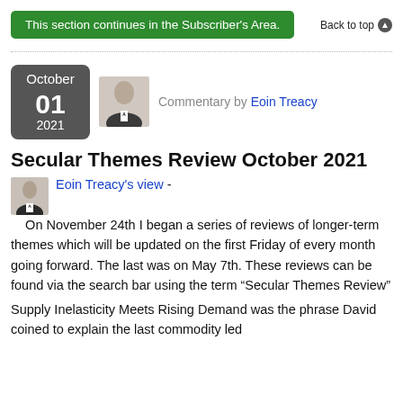This section continues in the Subscriber's Area.
Back to top
October 01 2021
[Figure (photo): Portrait photo of Eoin Treacy]
Commentary by Eoin Treacy
Secular Themes Review October 2021
[Figure (photo): Small portrait photo of Eoin Treacy]
Eoin Treacy's view - On November 24th I began a series of reviews of longer-term themes which will be updated on the first Friday of every month going forward. The last was on May 7th. These reviews can be found via the search bar using the term “Secular Themes Review”
Supply Inelasticity Meets Rising Demand was the phrase David coined to explain the last commodity led